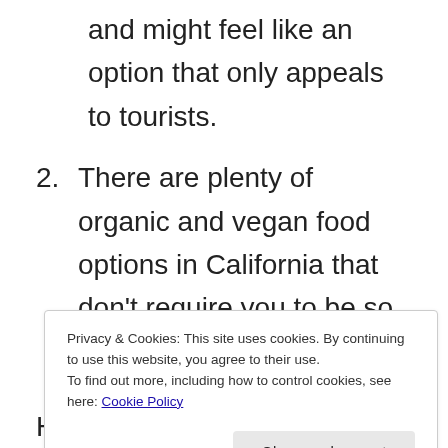and might feel like an option that only appeals to tourists.
2. There are plenty of organic and vegan food options in California that don't require you to be so positive about the world.
However, after going to Cafe Gratitude
Privacy & Cookies: This site uses cookies. By continuing to use this website, you agree to their use.
To find out more, including how to control cookies, see here: Cookie Policy
Close and accept